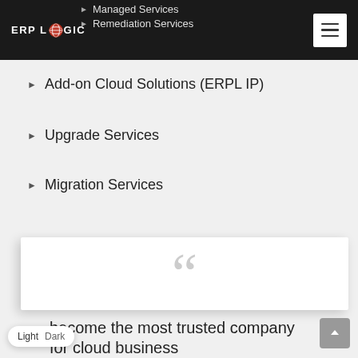[Figure (logo): ERP Logic logo with globe icon on dark navbar]
Managed Services
Remediation Services
Add-on Cloud Solutions (ERPL IP)
Upgrade Services
Migration Services
[Figure (illustration): Large grey open quotation marks on white card with shadow]
become the most trusted company for cloud business